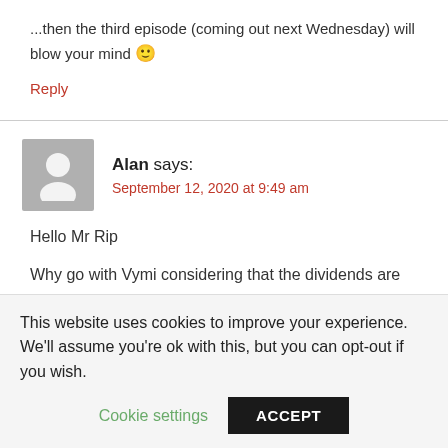...then the third episode (coming out next Wednesday) will blow your mind 🙂
Reply
Alan says:
September 12, 2020 at 9:49 am
Hello Mr Rip
Why go with Vymi considering that the dividends are
This website uses cookies to improve your experience. We'll assume you're ok with this, but you can opt-out if you wish.
Cookie settings
ACCEPT